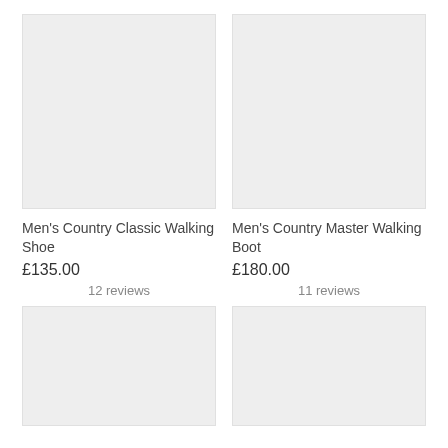[Figure (photo): Product image placeholder for Men's Country Classic Walking Shoe – grey rectangle]
Men's Country Classic Walking Shoe
£135.00
12 reviews
[Figure (photo): Product image placeholder for Men's Country Master Walking Boot – grey rectangle]
Men's Country Master Walking Boot
£180.00
11 reviews
[Figure (photo): Product image placeholder for bottom-left product – grey rectangle, partially visible]
[Figure (photo): Product image placeholder for bottom-right product – grey rectangle, partially visible]